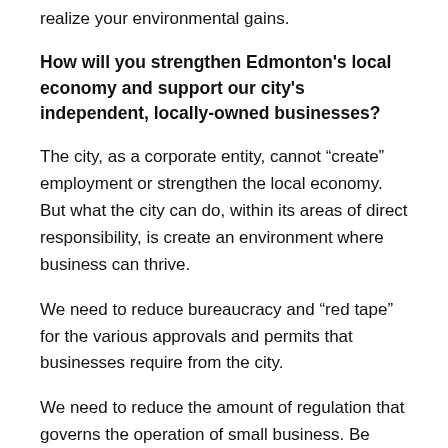realize your environmental gains.
How will you strengthen Edmonton's local economy and support our city's independent, locally-owned businesses?
The city, as a corporate entity, cannot “create” employment or strengthen the local economy. But what the city can do, within its areas of direct responsibility, is create an environment where business can thrive.
We need to reduce bureaucracy and “red tape” for the various approvals and permits that businesses require from the city.
We need to reduce the amount of regulation that governs the operation of small business. Be more open to businesses that take a unique approach to providing a good or service.